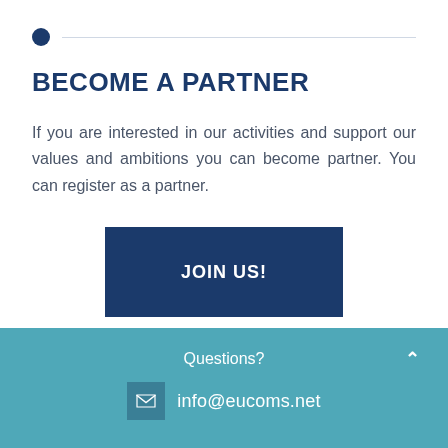BECOME A PARTNER
If you are interested in our activities and support our values and ambitions you can become partner. You can register as a partner.
JOIN US!
Questions?
info@eucoms.net